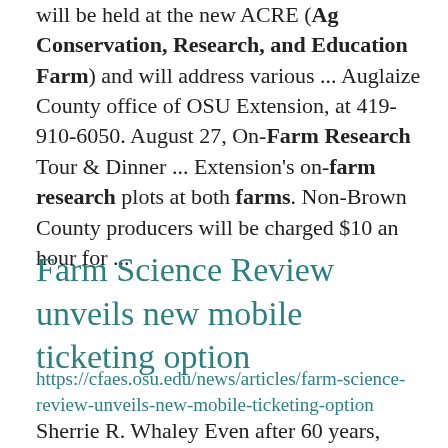will be held at the new ACRE (Ag Conservation, Research, and Education Farm) and will address various ... Auglaize County office of OSU Extension, at 419-910-6050. August 27, On-Farm Research Tour & Dinner ... Extension's on-farm research plots at both farms. Non-Brown County producers will be charged $10 an hour for ...
Farm Science Review unveils new mobile ticketing option
https://cfaes.osu.edu/news/articles/farm-science-review-unveils-new-mobile-ticketing-option
Sherrie R. Whaley Even after 60 years,